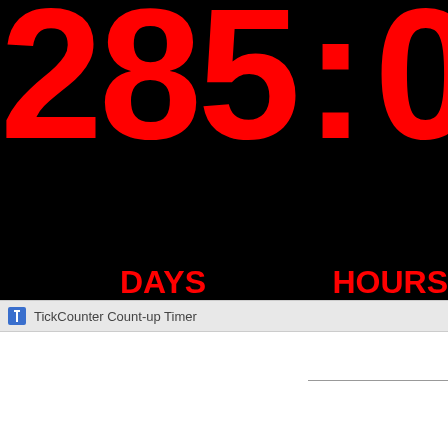[Figure (screenshot): TickCounter Count-up Timer showing 285 days and 01 hours on a black background with red digital-style numbers, with a browser tab bar showing the TickCounter icon and title.]
TickCounter Count-up Timer